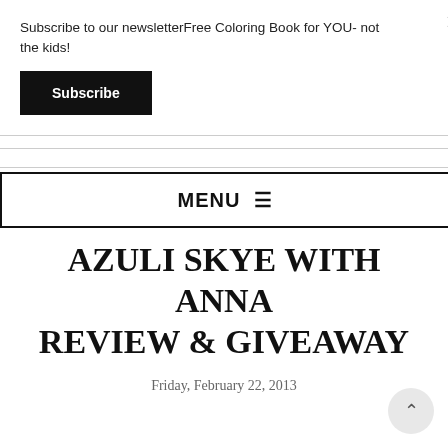Subscribe to our newsletterFree Coloring Book for YOU- not the kids!
Subscribe
MENU ☰
AZULI SKYE WITH ANNA REVIEW & GIVEAWAY
Friday, February 22, 2013